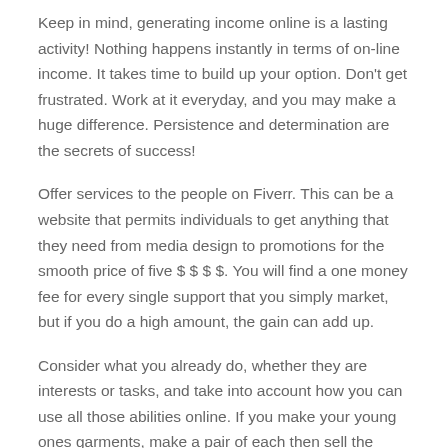Keep in mind, generating income online is a lasting activity! Nothing happens instantly in terms of on-line income. It takes time to build up your option. Don't get frustrated. Work at it everyday, and you may make a huge difference. Persistence and determination are the secrets of success!
Offer services to the people on Fiverr. This can be a website that permits individuals to get anything that they need from media design to promotions for the smooth price of five $ $ $ $. You will find a one money fee for every single support that you simply market, but if you do a high amount, the gain can add up.
Consider what you already do, whether they are interests or tasks, and take into account how you can use all those abilities online. If you make your young ones garments, make a pair of each then sell the extra online. Like to bake? Offer you your abilities by way of a internet site and people will hire you!